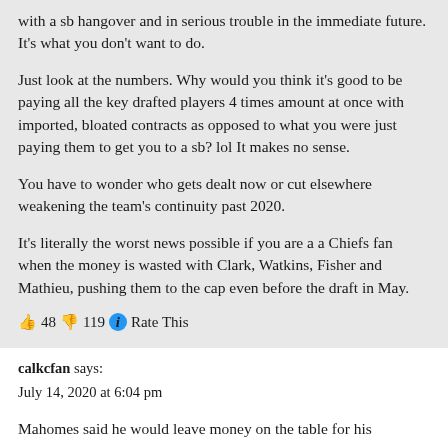with a sb hangover and in serious trouble in the immediate future. It's what you don't want to do.
Just look at the numbers. Why would you think it's good to be paying all the key drafted players 4 times amount at once with imported, bloated contracts as opposed to what you were just paying them to get you to a sb? lol It makes no sense.
You have to wonder who gets dealt now or cut elsewhere weakening the team's continuity past 2020.
It's literally the worst news possible if you are a a Chiefs fan when the money is wasted with Clark, Watkins, Fisher and Mathieu, pushing them to the cap even before the draft in May.
👍 48 👎 119 ℹ Rate This
calkcfan says:
July 14, 2020 at 6:04 pm
Mahomes said he would leave money on the table for his